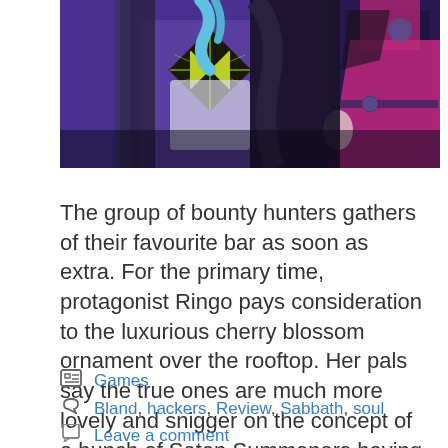[Figure (illustration): Anime-style characters including a figure in a yellow-green diamond-patterned outfit against a purple background, and another figure in pink/magenta on the right]
The group of bounty hunters gathers of their favourite bar as soon as extra. For the primary time, protagonist Ringo pays consideration to the luxurious cherry blossom ornament over the rooftop. Her pals say the true ones are much more lovely and snigger on the concept of a bunch of Satan Summoners having a picnic … Read more
Categories: Games
Tags: Bland, hackers, Review, Sabbath, soul
Leave a comment